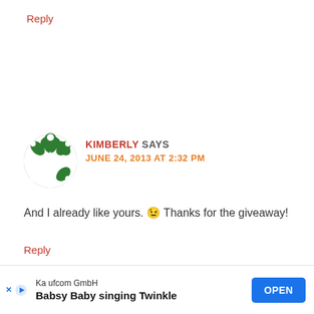Reply
[Figure (illustration): Green decorative snowflake/star avatar icon for user Kimberly]
KIMBERLY SAYS
JUNE 24, 2013 AT 2:32 PM
And I already like yours. 🙂 Thanks for the giveaway!
Reply
[Figure (illustration): Green decorative snowflake/star avatar icon for user Kaylyn (partially visible)]
KAYLYN SAYS
Kaufcom GmbH
Babsy Baby singing Twinkle
OPEN